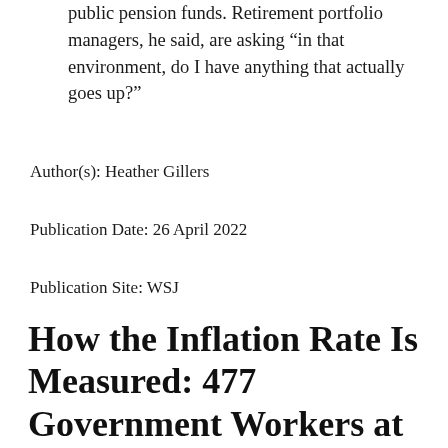public pension funds. Retirement portfolio managers, he said, are asking “in that environment, do I have anything that actually goes up?”
Author(s): Heather Gillers
Publication Date: 26 April 2022
Publication Site: WSJ
How the Inflation Rate Is Measured: 477 Government Workers at Stores Counted